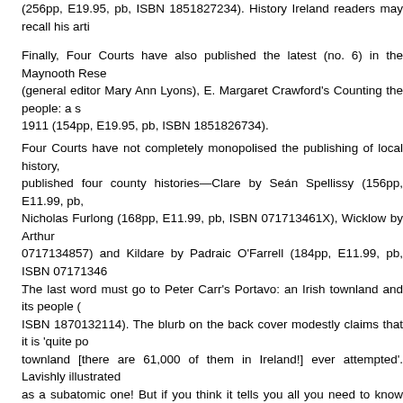(256pp, E19.95, pb, ISBN 1851827234). History Ireland readers may recall his arti
Finally, Four Courts have also published the latest (no. 6) in the Maynooth Rese (general editor Mary Ann Lyons), E. Margaret Crawford's Counting the people: a s 1911 (154pp, E19.95, pb, ISBN 1851826734).
Four Courts have not completely monopolised the publishing of local history, published four county histories—Clare by Seán Spellissy (156pp, E11.99, pb, Nicholas Furlong (168pp, E11.99, pb, ISBN 071713461X), Wicklow by Arthur 0717134857) and Kildare by Padraic O'Farrell (184pp, E11.99, pb, ISBN 07171346 The last word must go to Peter Carr's Portavo: an Irish townland and its people ( ISBN 1870132114). The blurb on the back cover modestly claims that it is 'quite po townland [there are 61,000 of them in Ireland!] ever attempted'. Lavishly illustrated as a subatomic one! But if you think it tells you all you need to know about this sing Co. Down, you'd be wrong: this is only part one (earliest times to 1844)! Watch this
.